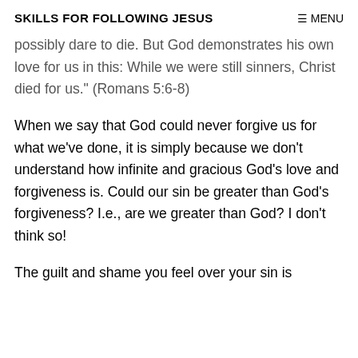SKILLS FOR FOLLOWING JESUS   ≡ MENU
possibly dare to die. But God demonstrates his own love for us in this: While we were still sinners, Christ died for us." (Romans 5:6-8)
When we say that God could never forgive us for what we've done, it is simply because we don't understand how infinite and gracious God's love and forgiveness is. Could our sin be greater than God's forgiveness? I.e., are we greater than God? I don't think so!
The guilt and shame you feel over your sin is